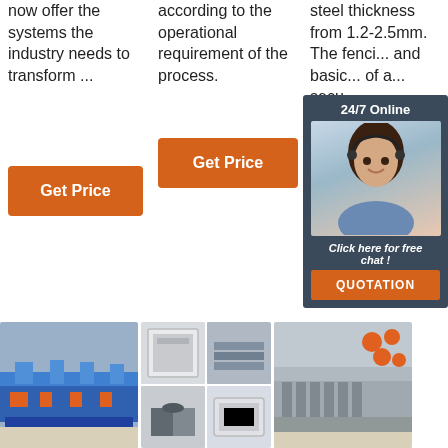now offer the systems the industry needs to transform ...
according to the operational requirement of the process.
steel thickness from 1.2-2.5mm. The fenci... and basic... of a ... secu...
Get Price
Get Price
Ge...
[Figure (photo): Chat widget with agent photo, '24/7 Online' header, 'Click here for free chat!' message, and QUOTATION button]
[Figure (photo): Industrial roll forming machine in blue, long production line]
[Figure (photo): Grid of 4 product photos showing metal profiles and sections]
[Figure (photo): Industrial roll forming/fence machine with orange mechanical parts]